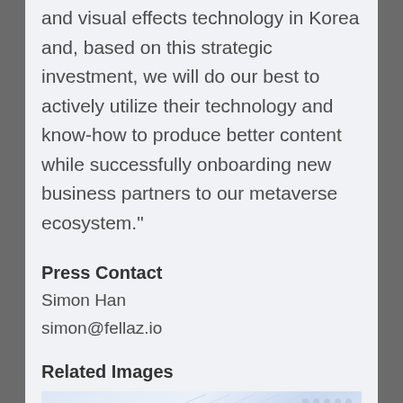and visual effects technology in Korea and, based on this strategic investment, we will do our best to actively utilize their technology and know-how to produce better content while successfully onboarding new business partners to our metaverse ecosystem."
Press Contact
Simon Han
simon@fellaz.io
Related Images
[Figure (photo): Light blue abstract image with diagonal lines and dot grid pattern, partial view of a related image]